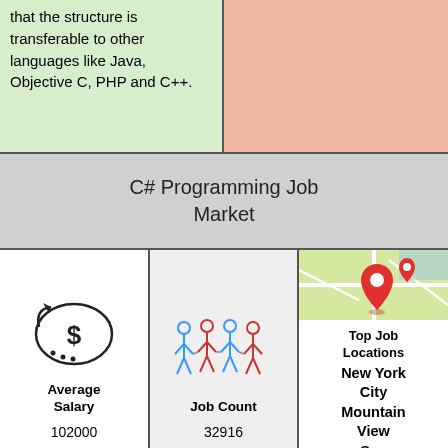that the structure is transferable to other languages like Java, Objective C, PHP and C++.
C# Programming Job Market
[Figure (infographic): Dollar sign money icon representing Average Salary]
Average Salary
102000
[Figure (infographic): Stick figure people icon representing Job Count]
Job Count
32916
[Figure (map): Google Maps style map with red location pin]
Top Job Locations
New York City Mountain View San Francisco